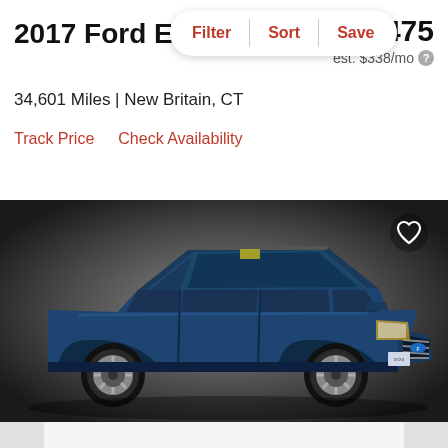2017 Ford E
Filter | Sort | Save
$23,475
34,601 Miles | New Britain, CT
est. $338/mo
Track Price    Check Availability
[Figure (photo): A 2017 Ford Escape SUV in dark blue color, photographed at a 3/4 front angle against a dark gray gradient background. The vehicle has chrome-trimmed grille, alloy wheels, and roof rails.]